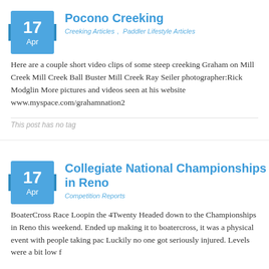Pocono Creeking
Creeking Articles,  Paddler Lifestyle Articles
Here are a couple short video clips of some steep creeking Graham on Mill Creek Mill Creek Ball Buster Mill Creek Ray Seiler photographer:Rick Modglin More pictures and videos seen at his website www.myspace.com/grahamnation2
This post has no tag
Collegiate National Championships in Reno
Competition Reports
BoaterCross Race Loopin the 4Twenty Headed down to the Championships in Reno this weekend. Ended up making it to boatercross, it was a physical event with people taking pac Luckily no one got seriously injured. Levels were a bit low f